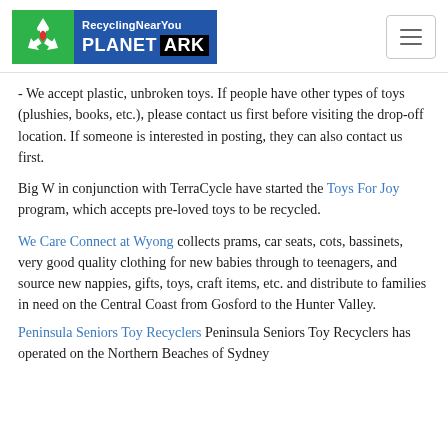[Figure (logo): RecyclingNearYou Planet Ark logo with green recycling symbol and blue text block]
- We accept plastic, unbroken toys. If people have other types of toys (plushies, books, etc.), please contact us first before visiting the drop-off location. If someone is interested in posting, they can also contact us first.
Big W in conjunction with TerraCycle have started the Toys For Joy program, which accepts pre-loved toys to be recycled.
We Care Connect at Wyong collects prams, car seats, cots, bassinets, very good quality clothing for new babies through to teenagers, and source new nappies, gifts, toys, craft items, etc. and distribute to families in need on the Central Coast from Gosford to the Hunter Valley.
Peninsula Seniors Toy Recyclers Peninsula Seniors Toy Recyclers has operated on the Northern Beaches of Sydney